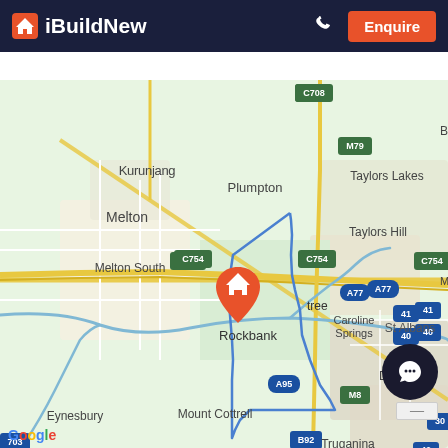iBuildNew — Enquire
[Figure (map): Google Maps screenshot showing suburbs around Rockbank, Victoria, Australia. An orange location pin with a house icon marks Rockbank. A blue outlined polygon marks a region around Rockbank. Nearby suburbs visible include Kurunjang, Melton, Melton South, Plumpton, Taylors Lakes, Taylors Hill, Caroline Springs, St Albans, Deer Park, Eynesbury, Mount Cottrell, Truganina. Roads include C708, M79, C754, A77, A95, B92, M8. A river (Werribee River) runs through the map in blue.]